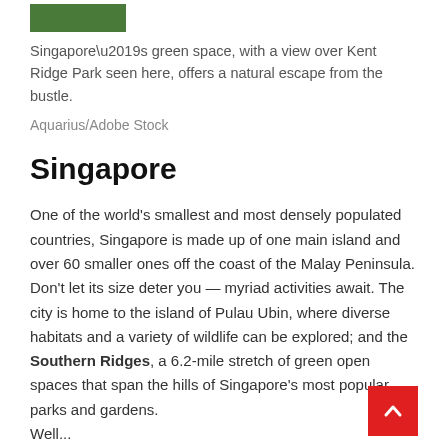[Figure (photo): Small green thumbnail image showing top of Kent Ridge Park vegetation]
Singapore’s green space, with a view over Kent Ridge Park seen here, offers a natural escape from the bustle.
Aquarius/Adobe Stock
Singapore
One of the world’s smallest and most densely populated countries, Singapore is made up of one main island and over 60 smaller ones off the coast of the Malay Peninsula.
Don’t let its size deter you — myriad activities await. The city is home to the island of Pulau Ubin, where diverse habitats and a variety of wildlife can be explored; and the Southern Ridges, a 6.2-mile stretch of green open spaces that span the hills of Singapore’s most popular parks and gardens.
Well...